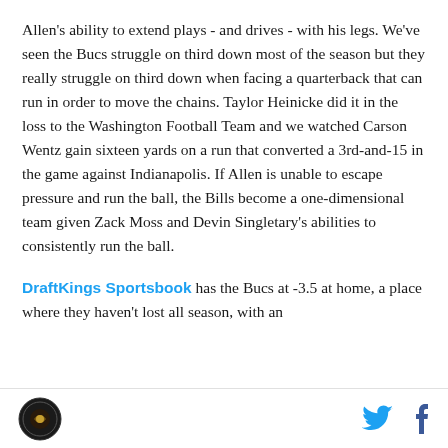Allen's ability to extend plays - and drives - with his legs. We've seen the Bucs struggle on third down most of the season but they really struggle on third down when facing a quarterback that can run in order to move the chains. Taylor Heinicke did it in the loss to the Washington Football Team and we watched Carson Wentz gain sixteen yards on a run that converted a 3rd-and-15 in the game against Indianapolis. If Allen is unable to escape pressure and run the ball, the Bills become a one-dimensional team given Zack Moss and Devin Singletary's abilities to consistently run the ball.
DraftKings Sportsbook has the Bucs at -3.5 at home, a place where they haven't lost all season, with an
[logo] [twitter icon] [facebook icon]